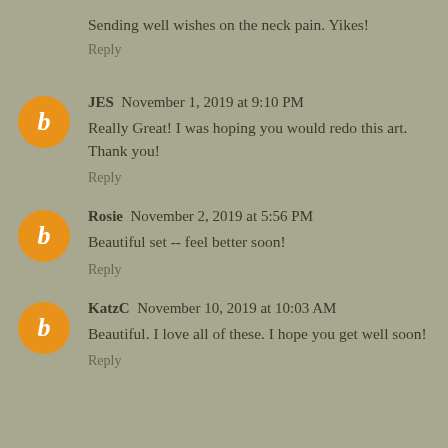Sending well wishes on the neck pain. Yikes!
Reply
JES  November 1, 2019 at 9:10 PM
Really Great! I was hoping you would redo this art. Thank you!
Reply
Rosie  November 2, 2019 at 5:56 PM
Beautiful set -- feel better soon!
Reply
KatzC  November 10, 2019 at 10:03 AM
Beautiful. I love all of these. I hope you get well soon!
Reply